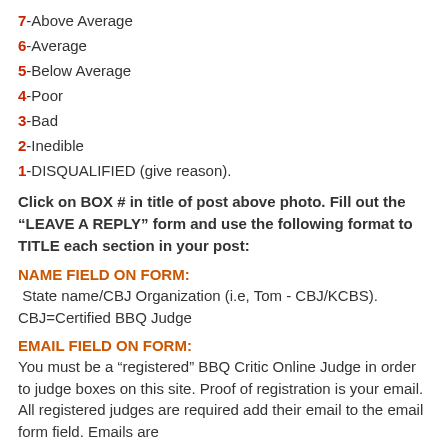7-Above Average
6-Average
5-Below Average
4-Poor
3-Bad
2-Inedible
1-DISQUALIFIED (give reason).
Click on BOX # in title of post above photo. Fill out the "LEAVE A REPLY" form and use the following format to TITLE each section in your post:
NAME FIELD ON FORM:
State name/CBJ Organization (i.e, Tom - CBJ/KCBS). CBJ=Certified BBQ Judge
EMAIL FIELD ON FORM:
You must be a "registered" BBQ Critic Online Judge in order to judge boxes on this site. Proof of registration is your email. All registered judges are required add their email to the email form field. Emails are